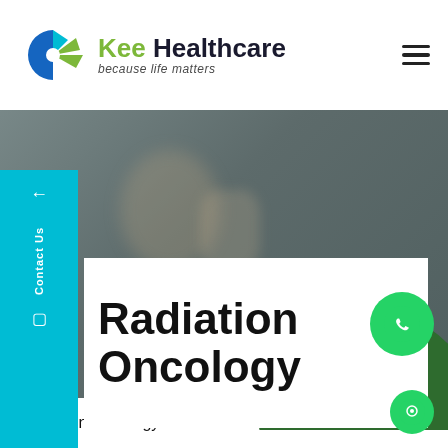[Figure (logo): Kee Healthcare logo with circular blue and green icon, text 'Kee Healthcare because life matters']
[Figure (photo): Blurred medical/hospital background image with dark overlay and cyan sidebar navigation element]
Radiation Oncology
“Radiation Oncology